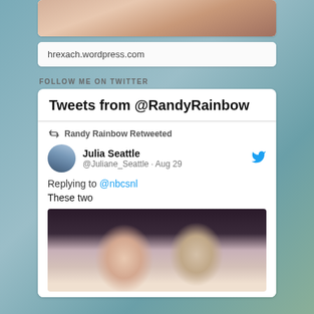[Figure (photo): Top portion of a profile photo card showing a person smiling]
hrexach.wordpress.com
FOLLOW ME ON TWITTER
Tweets from @RandyRainbow
Randy Rainbow Retweeted
Julia Seattle @Juliane_Seattle · Aug 29
Replying to @nbcsnl
These two
[Figure (photo): Selfie photo of two people (a woman with blonde hair and a man with dark hair) smiling together]